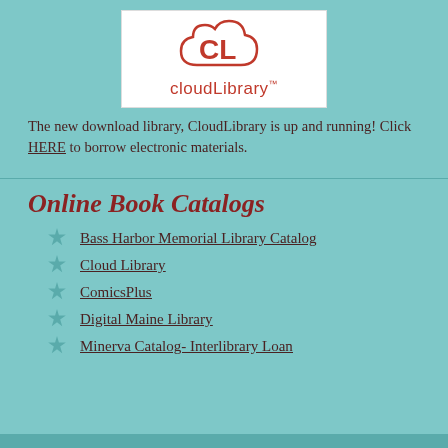[Figure (logo): cloudLibrary logo: a red cloud outline with letters CL inside, and the text cloudLibrary with trademark symbol below]
The new download library, CloudLibrary is up and running! Click HERE to borrow electronic materials.
Online Book Catalogs
Bass Harbor Memorial Library Catalog
Cloud Library
ComicsPlus
Digital Maine Library
Minerva Catalog- Interlibrary Loan